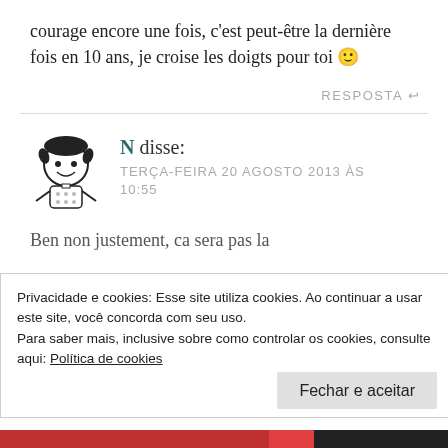courage encore une fois, c'est peut-être la dernière fois en 10 ans, je croise les doigts pour toi 🙂
RESPOSTA ↩
[Figure (illustration): Cartoon avatar of Mafalda character (black and white comic figure of a girl)]
N disse:
TERÇA-FEIRA 20 AGOSTO 2013 ÀS 10:55
Ben non justement, ca sera pas la
Privacidade e cookies: Esse site utiliza cookies. Ao continuar a usar este site, você concorda com seu uso.
Para saber mais, inclusive sobre como controlar os cookies, consulte aqui: Política de cookies
Fechar e aceitar